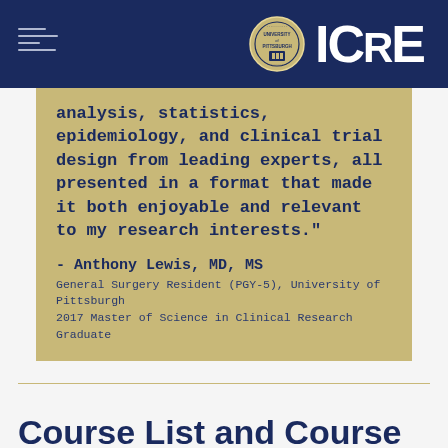[Figure (logo): ICRE logo with University of Pittsburgh seal on dark navy blue header bar]
analysis, statistics, epidemiology, and clinical trial design from leading experts, all presented in a format that made it both enjoyable and relevant to my research interests."
- Anthony Lewis, MD, MS
General Surgery Resident (PGY-5), University of Pittsburgh
2017 Master of Science in Clinical Research Graduate
Course List and Course